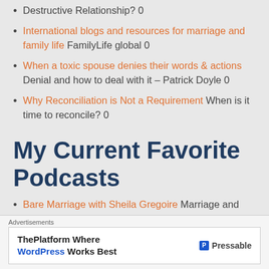Destructive Relationship? 0
International blogs and resources for marriage and family life FamilyLife global 0
When a toxic spouse denies their words & actions Denial and how to deal with it – Patrick Doyle 0
Why Reconciliation is Not a Requirement When is it time to reconcile? 0
My Current Favorite Podcasts
Bare Marriage with Sheila Gregoire Marriage and Sex: No Pat Answers 0
[Figure (screenshot): Advertisement banner: 'Advertisements' label above a white box reading 'ThePlatform Where WordPress Works Best' with Pressable branding and logo on the right.]